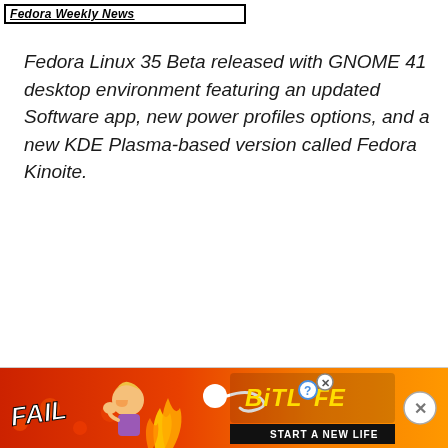[Fedora Weekly News]
Fedora Linux 35 Beta released with GNOME 41 desktop environment featuring an updated Software app, new power profiles options, and a new KDE Plasma-based version called Fedora Kinoite.
[Figure (other): Advertisement banner for BitLife mobile game with fire/flame background, cartoon character, FAIL text, and 'START A NEW LIFE' tagline with close button]